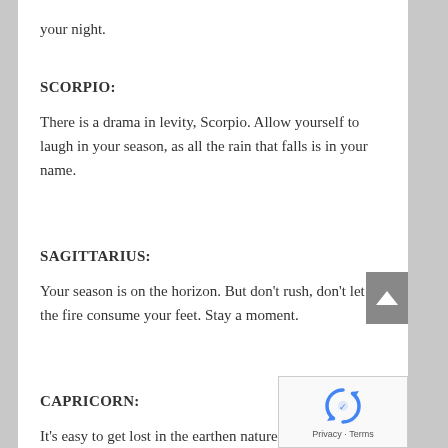your night.
SCORPIO:
There is a drama in levity, Scorpio. Allow yourself to laugh in your season, as all the rain that falls is in your name.
SAGITTARIUS:
Your season is on the horizon. But don't rush, don't let the fire consume your feet. Stay a moment.
CAPRICORN:
It's easy to get lost in the earthen nature of work, but allow yourself some time to process all that's